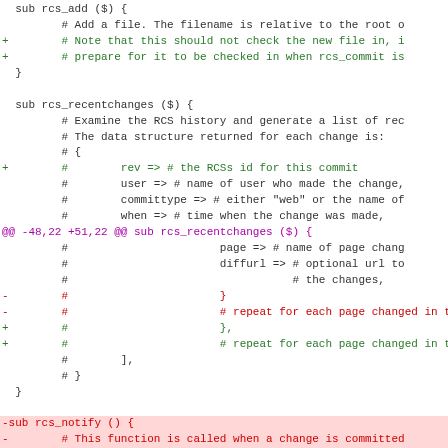Code diff showing rcs_add, rcs_recentchanges, rcs_notify, rcs_diff subroutines in Perl with unified diff format
[Figure (screenshot): Unified diff of Perl code showing additions and removals for rcs_add, rcs_recentchanges, and rcs_notify/rcs_diff functions with color-coded lines]